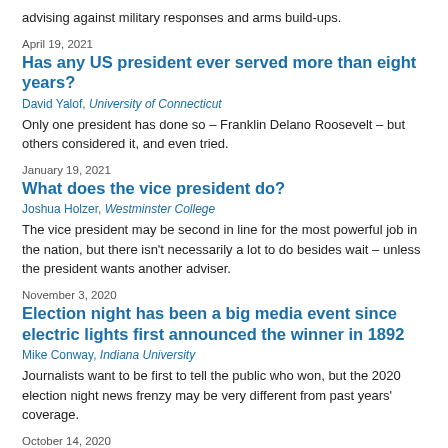advising against military responses and arms build-ups.
April 19, 2021
Has any US president ever served more than eight years?
David Yalof, University of Connecticut
Only one president has done so – Franklin Delano Roosevelt – but others considered it, and even tried.
January 19, 2021
What does the vice president do?
Joshua Holzer, Westminster College
The vice president may be second in line for the most powerful job in the nation, but there isn't necessarily a lot to do besides wait – unless the president wants another adviser.
November 3, 2020
Election night has been a big media event since electric lights first announced the winner in 1892
Mike Conway, Indiana University
Journalists want to be first to tell the public who won, but the 2020 election night news frenzy may be very different from past years' coverage.
October 14, 2020